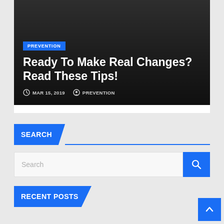[Figure (screenshot): Hero image with dark background showing article preview]
Ready To Make Real Changes? Read These Tips!
MAR 15, 2019  PREVENTION
SEARCH
Search
RECENT POSTS